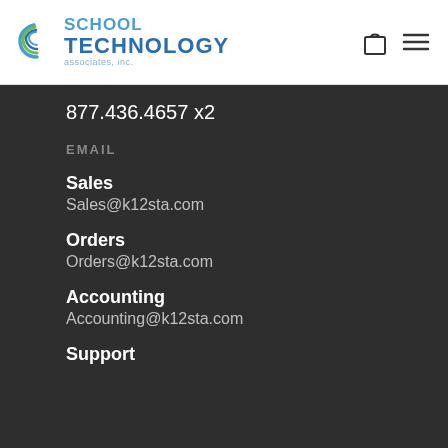[Figure (logo): School Technology Associates, Inc. logo with circular wave icon and blue text]
877.436.4657 x2
EMAIL
Sales
Sales@k12sta.com
Orders
Orders@k12sta.com
Accounting
Accounting@k12sta.com
Support